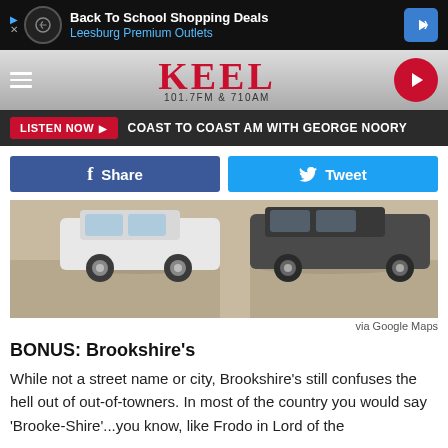[Figure (screenshot): Advertisement banner for Back To School Shopping Deals at Leesburg Premium Outlets]
[Figure (logo): KEEL 101.7FM & 710AM radio station logo header with hamburger menu and play button]
LISTEN NOW  COAST TO COAST AM WITH GEORGE NOORY
[Figure (other): Facebook Share button and Twitter Tweet button]
[Figure (photo): Street-level photo of parked cars in a parking lot, via Google Maps]
via Google Maps
BONUS: Brookshire's
While not a street name or city, Brookshire's still confuses the hell out of out-of-towners. In most of the country you would say 'Brooke-Shire'...you know, like Frodo in Lord of the